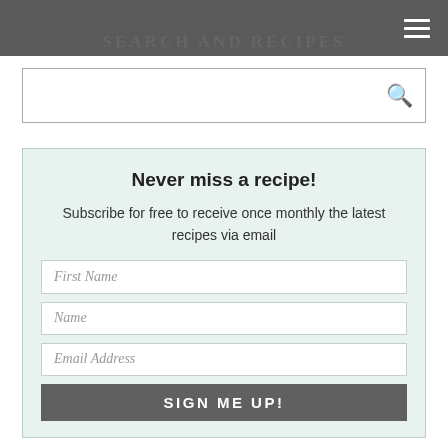SEARCH AND RECIPES
Never miss a recipe!
Subscribe for free to receive once monthly the latest recipes via email
First Name
Name
Email Address
SIGN ME UP!